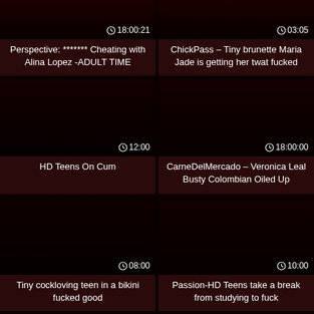[Figure (screenshot): Video thumbnail dark red/black, top-left card row 1]
Perspective: ******* Cheating with Alina Lopez -ADULT TIME
[Figure (screenshot): Video thumbnail dark red/black, top-right card row 1]
ChickPass – Tiny brunette Maria Jade is getting her twat fucked
[Figure (screenshot): Video thumbnail dark red/black, middle-left card row 2]
HD Teens On Cum
[Figure (screenshot): Video thumbnail dark red/black, middle-right card row 2]
CarneDelMercado – Veronica Leal Busty Colombian Oiled Up
[Figure (screenshot): Video thumbnail dark red/black, bottom-left card row 3]
Tiny cockloving teen in a bikini fucked good
[Figure (screenshot): Video thumbnail dark red/black, bottom-right card row 3]
Passion-HD Teens take a break from studying to fuck